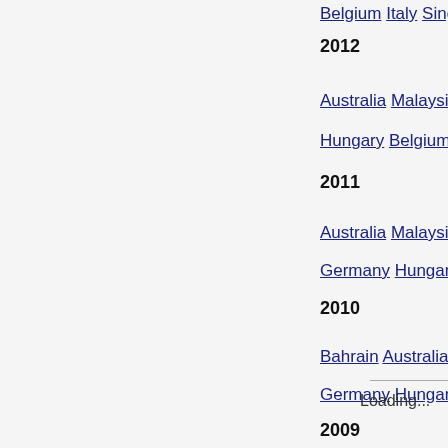Belgium Italy Singapore Korea Japan India Abu Dh...
2012
Australia Malaysia China Bahrain Spain Monaco Ca...
Hungary Belgium Italy Singapore Japan Korea Indi...
2011
Australia Malaysia China Turkey Spain Monaco Ca...
Germany Hungary Belgium Italy Singapore Japan K...
2010
Bahrain Australia Malaysia China Spain Monaco Tu...
Germany Hungary Belgium Italy Singapore Japan K...
2009
Hungary Europe Belgium Italy Singapore Japan
Loading...